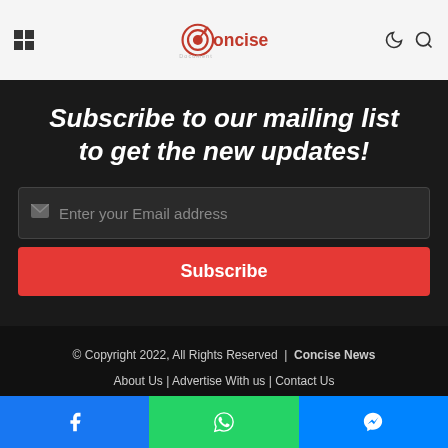Concise News
Subscribe to our mailing list to get the new updates!
Enter your Email address
Subscribe
© Copyright 2022, All Rights Reserved | Concise News
About Us | Advertise With us | Contact Us